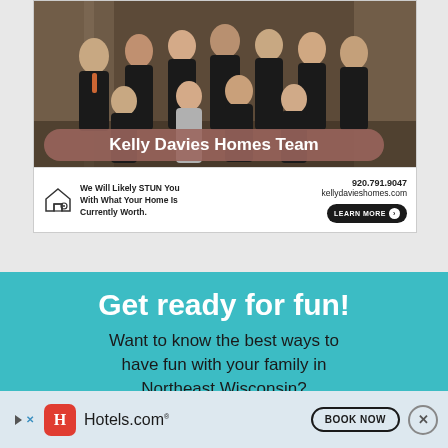[Figure (photo): Group photo of Kelly Davies Homes Team — approximately 11 people dressed in dark/black clothing posed together, with a mauve/brown badge overlay reading 'Kelly Davies Homes Team']
We Will Likely STUN You With What Your Home Is Currently Worth.
920.791.9047
kellydavieshomes.com
LEARN MORE >
Get ready for fun!
Want to know the best ways to have fun with your family in Northeast Wisconsin?
[Figure (logo): Hotels.com advertisement banner with red H icon, Hotels.com text, BOOK NOW button, and close X button]